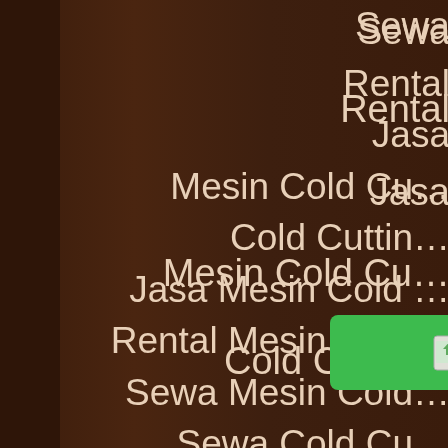Sewa
Rental
Jasa
Mesin Cold Cu…
Cold Cuttin…
Jasa Mesin Cold …
Rental Mesin Cold…
Sewa Mesin Cold…
Sewa Cold Cu…
Rental Cold Cu…
Jasa Cold Cut…
Mesin C…
[Figure (screenshot): Green Chat button with image icon at bottom of page]